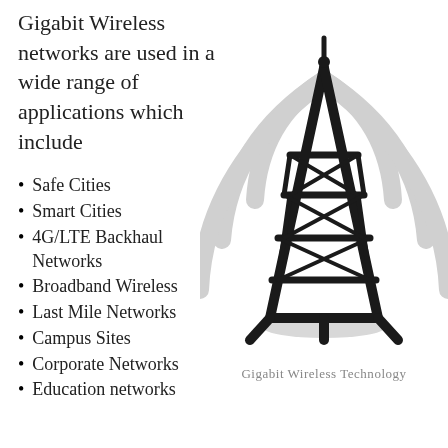Gigabit Wireless networks are used in a wide range of applications which include
Safe Cities
Smart Cities
4G/LTE Backhaul Networks
Broadband Wireless
Last Mile Networks
Campus Sites
Corporate Networks
Education networks
[Figure (illustration): A wireless transmission tower (cell tower) silhouette in black with radio wave arcs in light gray emanating from the top, representing Gigabit Wireless Technology.]
Gigabit Wireless Technology